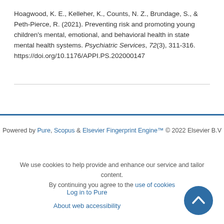Hoagwood, K. E., Kelleher, K., Counts, N. Z., Brundage, S., & Peth-Pierce, R. (2021). Preventing risk and promoting young children's mental, emotional, and behavioral health in state mental health systems. Psychiatric Services, 72(3), 311-316. https://doi.org/10.1176/APPI.PS.202000147
Powered by Pure, Scopus & Elsevier Fingerprint Engine™ © 2022 Elsevier B.V
We use cookies to help provide and enhance our service and tailor content. By continuing you agree to the use of cookies
Log in to Pure
About web accessibility